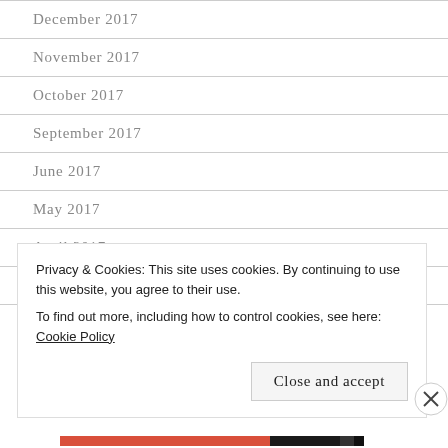December 2017
November 2017
October 2017
September 2017
June 2017
May 2017
April 2017
March 2017
Privacy & Cookies: This site uses cookies. By continuing to use this website, you agree to their use.
To find out more, including how to control cookies, see here: Cookie Policy